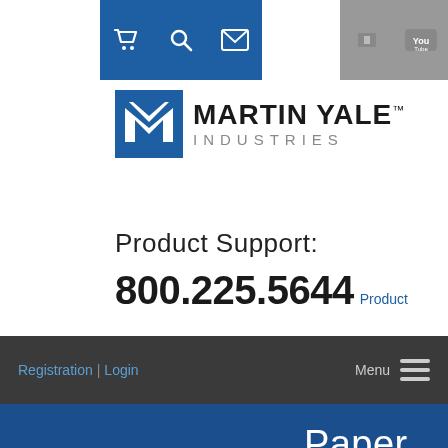[Figure (screenshot): Website header with blue icon buttons (cart, search, mail) and gray social media buttons]
[Figure (logo): Martin Yale Industries logo with M mark in blue and company name]
Product Support:
800.225.5644 Product
[Figure (screenshot): Dark navigation bar with Registration | Login links and Menu hamburger icon]
[Figure (logo): Martin Yale white logo on blue background with text Paper Perfora Machin (truncated)]